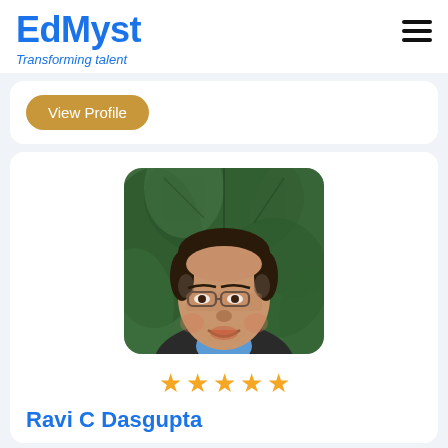EdMyst
Transforming talent
View Profile
[Figure (photo): Headshot of Ravi C Dasgupta, a middle-aged man with glasses, wearing a blue shirt and dark blazer, smiling, with green foliage in the background.]
★★★★★
Ravi C Dasgupta